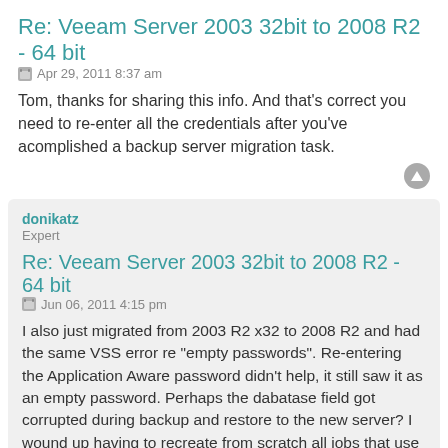Re: Veeam Server 2003 32bit to 2008 R2 - 64 bit
Apr 29, 2011 8:37 am
Tom, thanks for sharing this info. And that's correct you need to re-enter all the credentials after you've acomplished a backup server migration task.
donikatz
Expert
Re: Veeam Server 2003 32bit to 2008 R2 - 64 bit
Jun 06, 2011 4:15 pm
I also just migrated from 2003 R2 x32 to 2008 R2 and had the same VSS error re "empty passwords". Re-entering the Application Aware password didn't help, it still saw it as an empty password. Perhaps the dabatase field got corrupted during backup and restore to the new server? I wound up having to recreate from scratch all jobs that use VSS. FYI
Jump to Page 1 of 1